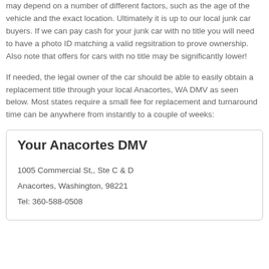may depend on a number of different factors, such as the age of the vehicle and the exact location. Ultimately it is up to our local junk car buyers. If we can pay cash for your junk car with no title you will need to have a photo ID matching a valid regsitration to prove ownership. Also note that offers for cars with no title may be significantly lower!
If needed, the legal owner of the car should be able to easily obtain a replacement title through your local Anacortes, WA DMV as seen below. Most states require a small fee for replacement and turnaround time can be anywhere from instantly to a couple of weeks:
Your Anacortes DMV
1005 Commercial St,, Ste C & D
Anacortes, Washington, 98221
Tel: 360-588-0508